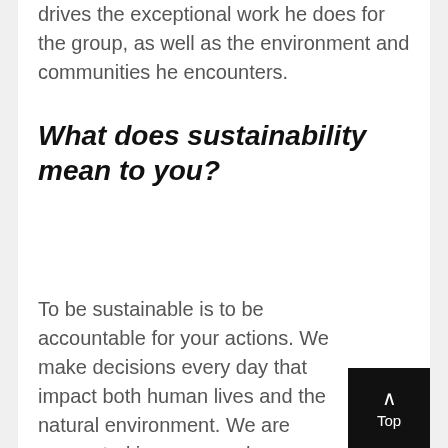drives the exceptional work he does for the group, as well as the environment and communities he encounters.
What does sustainability mean to you?
To be sustainable is to be accountable for your actions. We make decisions every day that impact both human lives and the natural environment. We are connected in a way we have never been in the past,